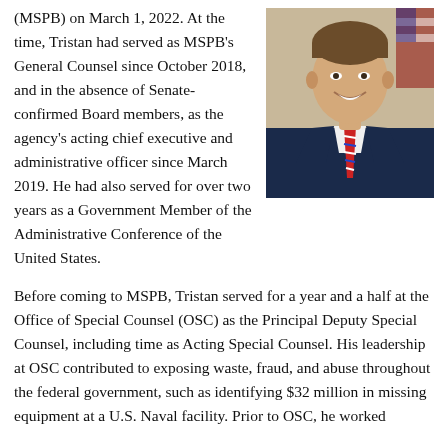(MSPB) on March 1, 2022. At the time, Tristan had served as MSPB's General Counsel since October 2018, and in the absence of Senate-confirmed Board members, as the agency's acting chief executive and administrative officer since March 2019. He had also served for over two years as a Government Member of the Administrative Conference of the United States.
[Figure (photo): Professional headshot of a young man in a navy blue suit with a red, white and blue striped tie, smiling, with an American flag visible in the background.]
Before coming to MSPB, Tristan served for a year and a half at the Office of Special Counsel (OSC) as the Principal Deputy Special Counsel, including time as Acting Special Counsel. His leadership at OSC contributed to exposing waste, fraud, and abuse throughout the federal government, such as identifying $32 million in missing equipment at a U.S. Naval facility. Prior to OSC, he worked